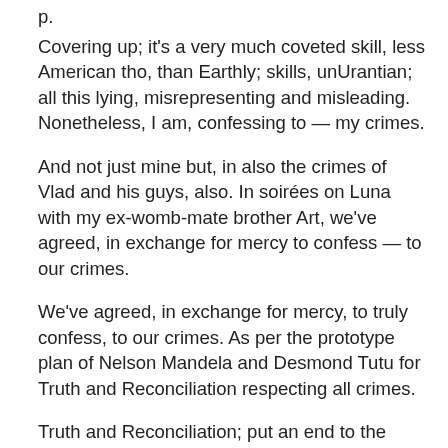p.
Covering up; it's a very much coveted skill, less American tho, than Earthly; skills, unUrantian; all this lying, misrepresenting and misleading. Nonetheless, I am, confessing to — my crimes.
And not just mine but, in also the crimes of Vlad and his guys, also. In soirées on Luna with my ex-womb-mate brother Art, we've agreed, in exchange for mercy to confess — to our crimes.
We've agreed, in exchange for mercy, to truly confess, to our crimes. As per the prototype plan of Nelson Mandela and Desmond Tutu for Truth and Reconciliation respecting all crimes.
Truth and Reconciliation; put an end to the madness; put an end to a paradigm, archaic. Accordingly, Vlad and his